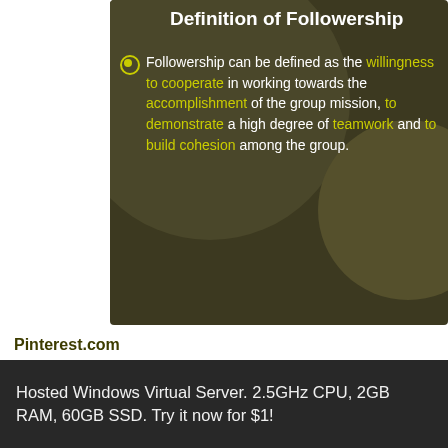[Figure (screenshot): Dark olive/brown presentation slide titled 'Definition of Followership' with bullet point text on dark background with circular decorative elements. Text reads: Followership can be defined as the willingness to cooperate in working towards the accomplishment of the group mission, to demonstrate a high degree of teamwork and to build cohesion among the group. Key phrases are highlighted in yellow-green.]
Pinterest.com
Hosted Windows Virtual Server. 2.5GHz CPU, 2GB RAM, 60GB SSD. Try it now for $1!